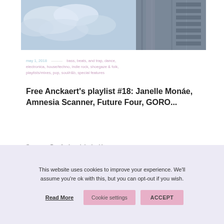[Figure (photo): Upward-angled photo of a modern high-rise building against a cloudy blue-grey sky]
may 1, 2018 — bass, beats, and trap, dance, electronica, house/techno, indie rock, shoegaze & folk, playlists/mixes, pop, soul/r&b, special features
Free Anckaert's playlist #18: Janelle Monáe, Amnesia Scanner, Future Four, GORO...
Our curator Free Anckaert is back with a new
This website uses cookies to improve your experience. We'll assume you're ok with this, but you can opt-out if you wish. Read More Cookie settings ACCEPT